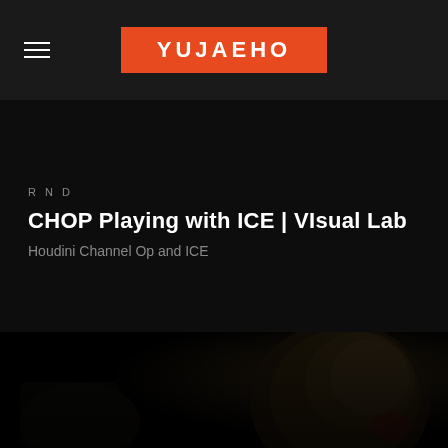YUJAEHO
RND
CHOP Playing with ICE | VIsual Lab
Houdini Channel Op and ICE
[Figure (photo): Dark atmospheric render of a creature or character with textured skin, partially visible in low-key lighting]